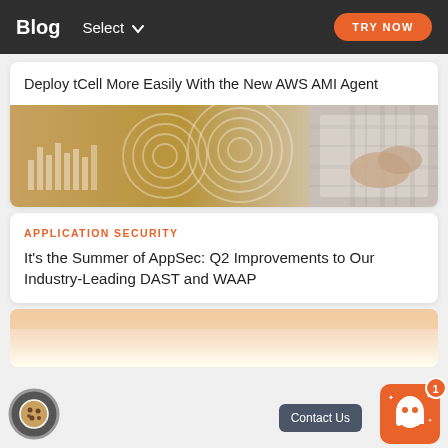Blog  Select  TRY NOW
Deploy tCell More Easily With the New AWS AMI Agent
[Figure (photo): A photo showing hands typing on a laptop with overlaid circular technology/network graphics and bar chart visuals in warm tones]
APPLICATION SECURITY
It's the Summer of AppSec: Q2 Improvements to Our Industry-Leading DAST and WAAP
[Figure (photo): Partially visible blog post image with warm light gradient at bottom of page]
[Figure (other): Cookie consent button icon (circular with cookie icon)]
Contact Us
[Figure (other): Chat bot ghost mascot icon with orange background and notification badge showing 1]